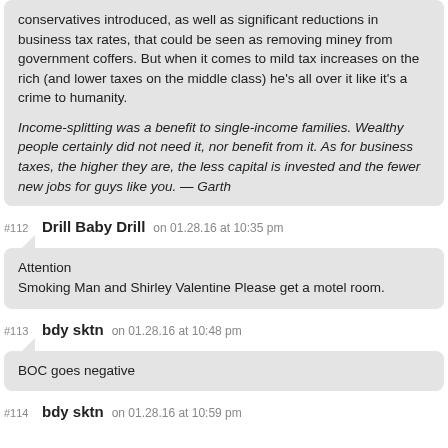conservatives introduced, as well as significant reductions in business tax rates, that could be seen as removing miney from government coffers. But when it comes to mild tax increases on the rich (and lower taxes on the middle class) he's all over it like it's a crime to humanity.
Income-splitting was a benefit to single-income families. Wealthy people certainly did not need it, nor benefit from it. As for business taxes, the higher they are, the less capital is invested and the fewer new jobs for guys like you. — Garth
#112 Drill Baby Drill on 01.28.16 at 10:35 pm
Attention
Smoking Man and Shirley Valentine Please get a motel room.
#113 bdy sktn on 01.28.16 at 10:48 pm
BOC goes negative
#114 bdy sktn on 01.28.16 at 10:59 pm